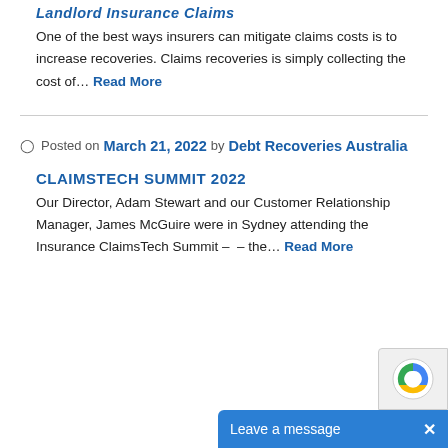Landlord Insurance Claims
One of the best ways insurers can mitigate claims costs is to increase recoveries. Claims recoveries is simply collecting the cost of… Read More
Posted on March 21, 2022 by Debt Recoveries Australia
CLAIMSTECH SUMMIT 2022
Our Director, Adam Stewart and our Customer Relationship Manager, James McGuire were in Sydney attending the Insurance ClaimsTech Summit –  – the… Read More
Leave a message ×